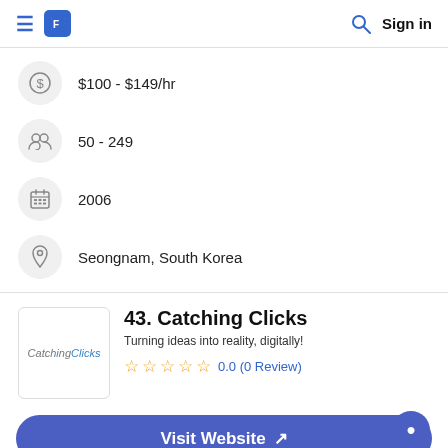≡ [logo] [search] Sign in
$100 - $149/hr
50 - 249
2006
Seongnam, South Korea
43. Catching Clicks
Turning ideas into reality, digitally!
0.0 (0 Review)
Visit Website ↗